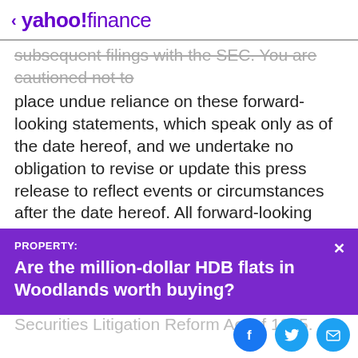< yahoo!finance
subsequent filings with the SEC. You are cautioned not to place undue reliance on these forward-looking statements, which speak only as of the date hereof, and we undertake no obligation to revise or update this press release to reflect events or circumstances after the date hereof. All forward-looking statements are qualified in their entirety by this cautionary statement, which is made under the safe harbor provisions of the Private Securities Litigation Reform Act of 1995.
[Figure (other): Purple promotional banner: PROPERTY: Are the million-dollar HDB flats in Woodlands worth buying?]
[Figure (other): Social sharing buttons: Facebook, Twitter, Email]